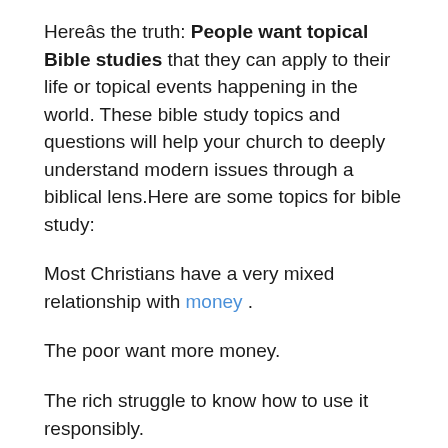Hereâs the truth: People want topical Bible studies that they can apply to their life or topical events happening in the world. These bible study topics and questions will help your church to deeply understand modern issues through a biblical lens.Here are some topics for bible study:
Most Christians have a very mixed relationship with money .
The poor want more money.
The rich struggle to know how to use it responsibly.
Everybody feels guilty about wanting more.